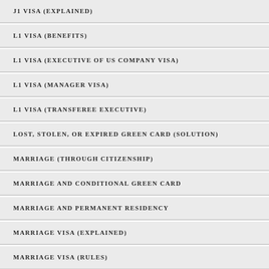J1 VISA (EXPLAINED)
L1 VISA (BENEFITS)
L1 VISA (EXECUTIVE OF US COMPANY VISA)
L1 VISA (MANAGER VISA)
L1 VISA (TRANSFEREE EXECUTIVE)
LOST, STOLEN, OR EXPIRED GREEN CARD (SOLUTION)
MARRIAGE (THROUGH CITIZENSHIP)
MARRIAGE AND CONDITIONAL GREEN CARD
MARRIAGE AND PERMANENT RESIDENCY
MARRIAGE VISA (EXPLAINED)
MARRIAGE VISA (RULES)